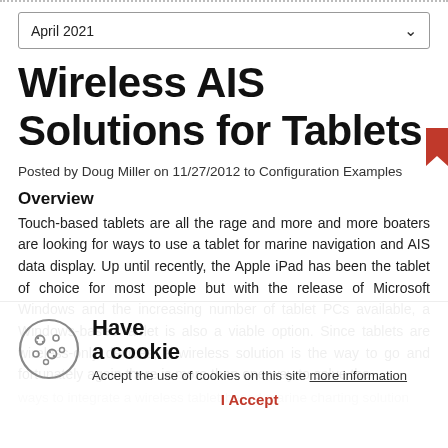April 2021 (dropdown)
Wireless AIS Solutions for Tablets
Posted by Doug Miller on 11/27/2012 to Configuration Examples
Overview
Touch-based tablets are all the rage and more and more boaters are looking for ways to use a tablet for marine navigation and AIS data display. Up until recently, the Apple iPad has been the tablet of choice for most people but with the release of Microsoft Windows and the increasing number of tablet PCs available, a Windows-based tablet is also a viable option. Since tablets are wireless-only devices, a wireless solution is the way to go and fortunately again there is more than one way to solve the ways to integrate a wireless tablet-based marine charting solution